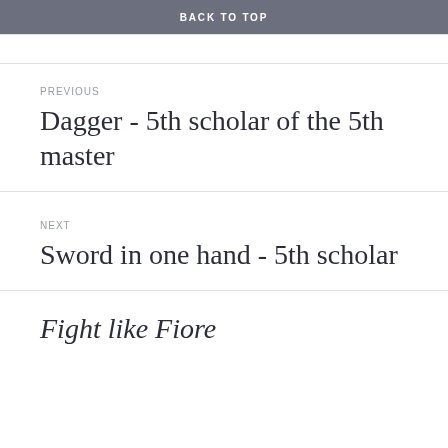BACK TO TOP
PREVIOUS
Dagger - 5th scholar of the 5th master
NEXT
Sword in one hand - 5th scholar
Fight like Fiore